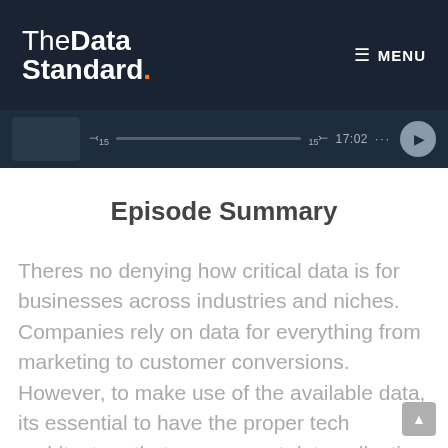TheDataStandard. MENU
[Figure (screenshot): Audio player bar showing skip buttons (15), progress bar, timestamp 17:02, options dots, and play button on dark background]
Episode Summary
Theres no denying how critical data is for businesses across industries and niches. Companies rely on data for everything from marketing to customer conversions. However, to make use of the available data, its essential to have the proper tech architecture that can support data collection and analysis.